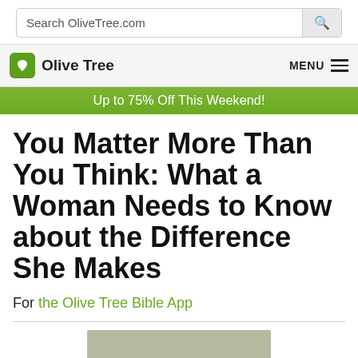Search OliveTree.com
Olive Tree  MENU
Up to 75% Off This Weekend!
You Matter More Than You Think: What a Woman Needs to Know about the Difference She Makes
For the Olive Tree Bible App
[Figure (photo): Book cover showing 'you matter more than you think' text on a textured green/tan background]